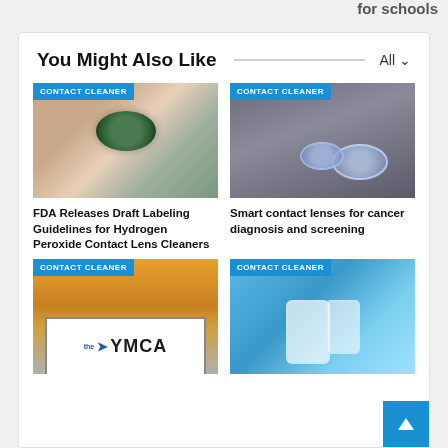for schools
You Might Also Like
[Figure (photo): Person inserting contact lens into eye, with CONTACT CLEANER tag]
FDA Releases Draft Labeling Guidelines for Hydrogen Peroxide Contact Lens Cleaners
[Figure (photo): Two contact lenses on wet surface, with CONTACT CLEANER tag]
Smart contact lenses for cancer diagnosis and screening
[Figure (photo): YMCA sign with autumn trees background, with CONTACT CLEANER tag]
[Figure (photo): Contact lens cleaning bottles on blue background, with CONTACT CLEANER tag]